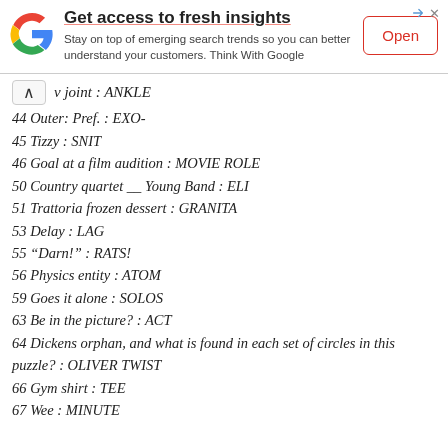[Figure (infographic): Google advertisement banner: 'Get access to fresh insights' with Google logo, body text 'Stay on top of emerging search trends so you can better understand your customers. Think With Google', and an 'Open' button.]
v joint : ANKLE
44 Outer: Pref. : EXO-
45 Tizzy : SNIT
46 Goal at a film audition : MOVIE ROLE
50 Country quartet __ Young Band : ELI
51 Trattoria frozen dessert : GRANITA
53 Delay : LAG
55 “Darn!” : RATS!
56 Physics entity : ATOM
59 Goes it alone : SOLOS
63 Be in the picture? : ACT
64 Dickens orphan, and what is found in each set of circles in this puzzle? : OLIVER TWIST
66 Gym shirt : TEE
67 Wee : MINUTE